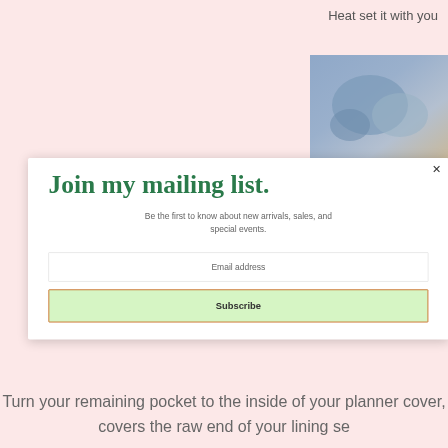Heat set it with you
[Figure (photo): Close-up photo of blue/purple crafting material, planner or fabric cover]
Join my mailing list.
Be the first to know about new arrivals, sales, and special events.
Email address
Subscribe
Turn your remaining pocket to the inside of your planner cover, covers the raw end of your lining se